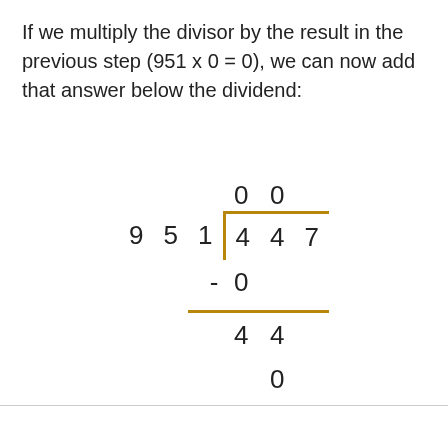If we multiply the divisor by the result in the previous step (951 x 0 = 0), we can now add that answer below the dividend:
[Figure (math-figure): Long division diagram showing 447 divided by 951. Quotient digits 0 0 shown above. Divisor 9 5 1 on left with bracket. Dividend 4 4 7 inside bracket. Subtraction of 0 below, horizontal rule, remainder 4 4, then 0 below.]